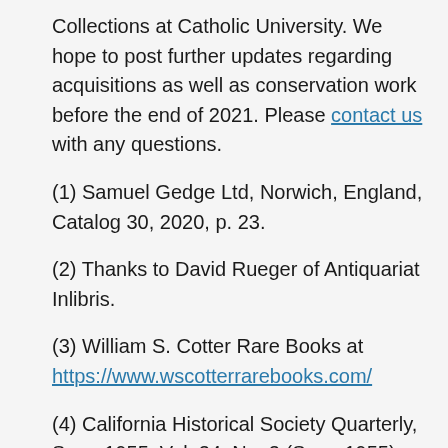Collections at Catholic University. We hope to post further updates regarding acquisitions as well as conservation work before the end of 2021. Please contact us with any questions.
(1) Samuel Gedge Ltd, Norwich, England, Catalog 30, 2020, p. 23.
(2) Thanks to David Rueger of Antiquariat Inlibris.
(3) William S. Cotter Rare Books at https://www.wscotterrarebooks.com/
(4) California Historical Society Quarterly, Sep., 1955, Vol. 34, No. 3 (Sep., 1955), pp. 231-237.